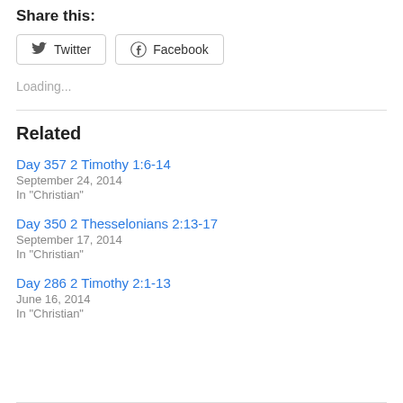Share this:
Twitter  Facebook
Loading...
Related
Day 357 2 Timothy 1:6-14
September 24, 2014
In "Christian"
Day 350 2 Thesselonians 2:13-17
September 17, 2014
In "Christian"
Day 286 2 Timothy 2:1-13
June 16, 2014
In "Christian"